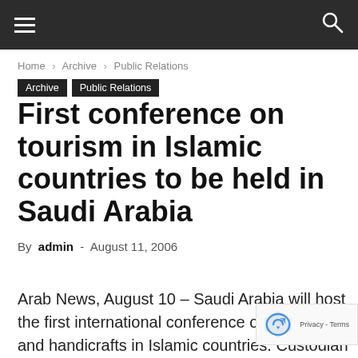≡  🔍
Home › Archive › Public Relations
Archive  Public Relations
First conference on tourism in Islamic countries to be held in Saudi Arabia
By admin - August 11, 2006
Arab News, August 10 – Saudi Arabia will host the first international conference on tourism and handicrafts in Islamic countries. Custodian of the Two Holy Mosques Abdullah will open the conference scheduled to be held ...